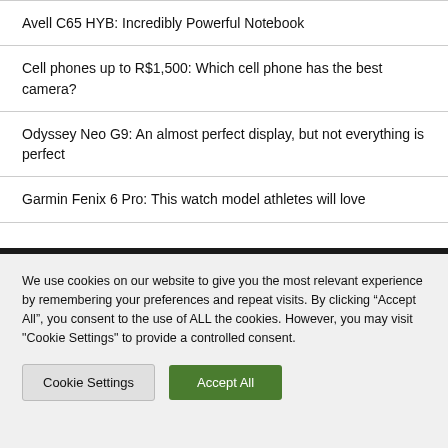Avell C65 HYB: Incredibly Powerful Notebook
Cell phones up to R$1,500: Which cell phone has the best camera?
Odyssey Neo G9: An almost perfect display, but not everything is perfect
Garmin Fenix 6 Pro: This watch model athletes will love
We use cookies on our website to give you the most relevant experience by remembering your preferences and repeat visits. By clicking “Accept All”, you consent to the use of ALL the cookies. However, you may visit "Cookie Settings" to provide a controlled consent.